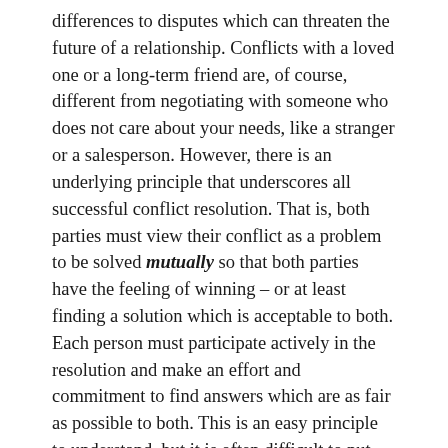differences to disputes which can threaten the future of a relationship. Conflicts with a loved one or a long-term friend are, of course, different from negotiating with someone who does not care about your needs, like a stranger or a salesperson. However, there is an underlying principle that underscores all successful conflict resolution. That is, both parties must view their conflict as a problem to be solved mutually so that both parties have the feeling of winning – or at least finding a solution which is acceptable to both. Each person must participate actively in the resolution and make an effort and commitment to find answers which are as fair as possible to both. This is an easy principle to understand, but it is often difficult to put into practice.
We may get so caught up with our own immediate interests that we damage our relationships. If we disregard or minimize the position of the other person, if for some reason we need to win, if we do not show empathy...